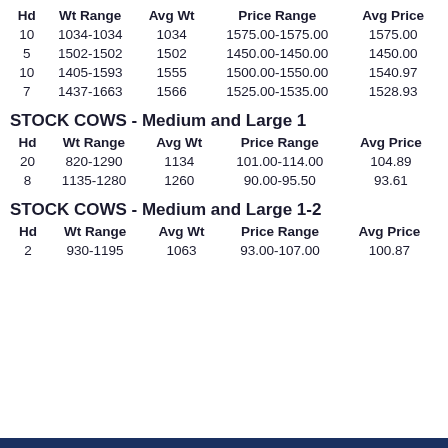| Hd | Wt Range | Avg Wt | Price Range | Avg Price |
| --- | --- | --- | --- | --- |
| 10 | 1034-1034 | 1034 | 1575.00-1575.00 | 1575.00 |
| 5 | 1502-1502 | 1502 | 1450.00-1450.00 | 1450.00 |
| 10 | 1405-1593 | 1555 | 1500.00-1550.00 | 1540.97 |
| 7 | 1437-1663 | 1566 | 1525.00-1535.00 | 1528.93 |
STOCK COWS - Medium and Large 1
| Hd | Wt Range | Avg Wt | Price Range | Avg Price |
| --- | --- | --- | --- | --- |
| 20 | 820-1290 | 1134 | 101.00-114.00 | 104.89 |
| 8 | 1135-1280 | 1260 | 90.00-95.50 | 93.61 |
STOCK COWS - Medium and Large 1-2
| Hd | Wt Range | Avg Wt | Price Range | Avg Price |
| --- | --- | --- | --- | --- |
| 2 | 930-1195 | 1063 | 93.00-107.00 | 100.87 |